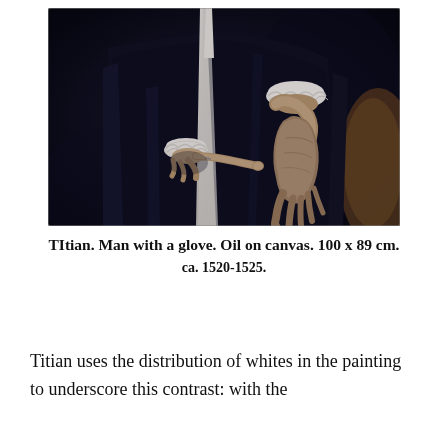[Figure (photo): Detail of Titian's painting 'Man with a glove', showing the torso and hands of a man in dark clothing with white ruffled cuffs. One hand points with an extended finger, the other holds a glove. The background is very dark.]
TItian. Man with a glove. Oil on canvas. 100 x 89 cm. ca. 1520-1525.
Titian uses the distribution of whites in the painting to underscore this contrast: with the